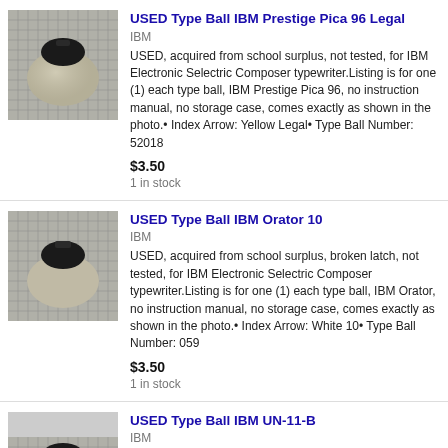[Figure (photo): Photo of a used IBM type ball (Selectric) on a grid background]
USED Type Ball IBM Prestige Pica 96 Legal
IBM
USED, acquired from school surplus, not tested, for IBM Electronic Selectric Composer typewriter.Listing is for one (1) each type ball, IBM Prestige Pica 96, no instruction manual, no storage case, comes exactly as shown in the photo.• Index Arrow: Yellow Legal• Type Ball Number: 52018
$3.50
1 in stock
[Figure (photo): Photo of a used IBM type ball (Selectric) on a grid background]
USED Type Ball IBM Orator 10
IBM
USED, acquired from school surplus, broken latch, not tested, for IBM Electronic Selectric Composer typewriter.Listing is for one (1) each type ball, IBM Orator, no instruction manual, no storage case, comes exactly as shown in the photo.• Index Arrow: White 10• Type Ball Number: 059
$3.50
1 in stock
[Figure (photo): Photo of a used IBM type ball (Selectric) on a grid background, partially visible]
USED Type Ball IBM UN-11-B
IBM